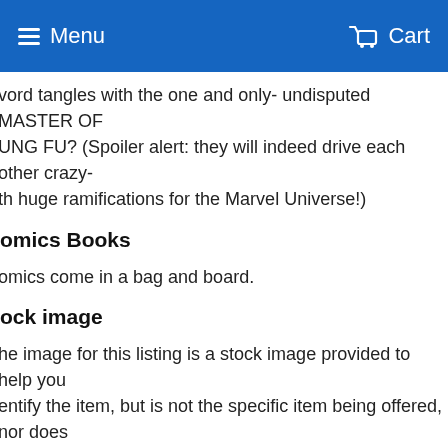Menu   Cart
vord tangles with the one and only- undisputed MASTER OF UNG FU? (Spoiler alert: they will indeed drive each other crazy- th huge ramifications for the Marvel Universe!)
omics Books
omics come in a bag and board.
ock image
he image for this listing is a stock image provided to help you entify the item, but is not the specific item being offered, nor does represent the grade or condition of the item you will receive.
nal art may vary and will have trade dress (logos) unless stated in e that it will be a virgin cover.
ACKING